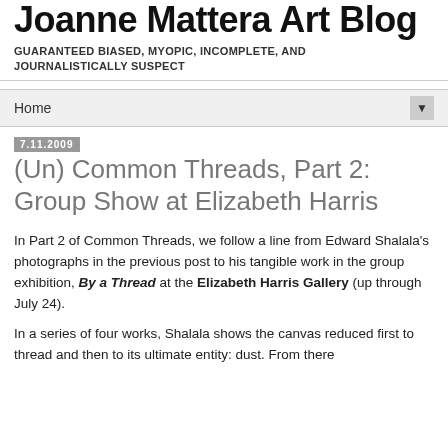Joanne Mattera Art Blog
GUARANTEED BIASED, MYOPIC, INCOMPLETE, AND JOURNALISTICALLY SUSPECT
Home ▼
7.11.2009
(Un) Common Threads, Part 2: Group Show at Elizabeth Harris
In Part 2 of Common Threads, we follow a line from Edward Shalala's photographs in the previous post to his tangible work in the group exhibition, By a Thread at the Elizabeth Harris Gallery (up through July 24).
In a series of four works, Shalala shows the canvas reduced first to thread and then to its ultimate entity: dust. From there